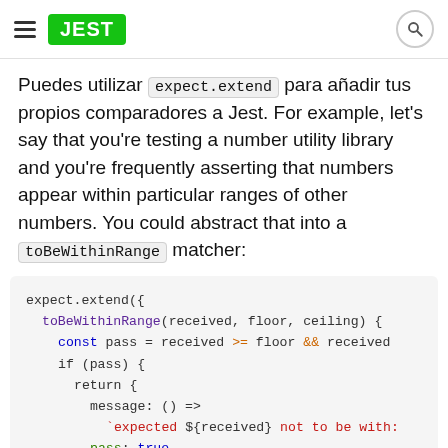JEST
Puedes utilizar expect.extend para añadir tus propios comparadores a Jest. For example, let's say that you're testing a number utility library and you're frequently asserting that numbers appear within particular ranges of other numbers. You could abstract that into a toBeWithinRange matcher:
[Figure (screenshot): Code block showing expect.extend({ toBeWithinRange(received, floor, ceiling) { const pass = received >= floor && received ... if (pass) { return { message: () => `expected ${received} not to be with... pass: true, }; ...]